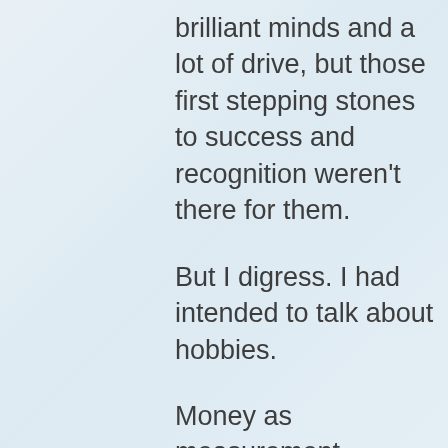brilliant minds and a lot of drive, but those first stepping stones to success and recognition weren't there for them.
But I digress. I had intended to talk about hobbies.
Money as measurement